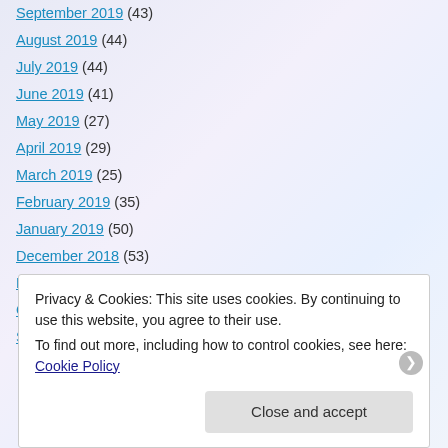September 2019 (43)
August 2019 (44)
July 2019 (44)
June 2019 (41)
May 2019 (27)
April 2019 (29)
March 2019 (25)
February 2019 (35)
January 2019 (50)
December 2018 (53)
November 2018 (40)
October 2018 (19)
September 2018 (23)
Privacy & Cookies: This site uses cookies. By continuing to use this website, you agree to their use. To find out more, including how to control cookies, see here: Cookie Policy
Close and accept